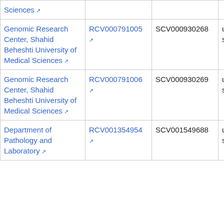| Organization | RCV | SCV | Classification | Condition |
| --- | --- | --- | --- | --- |
| Sciences [ext] |  |  |  |  |
| Genomic Research Center, Shahid Beheshti University of Medical Sciences [ext] | RCV000791005 [ext] | SCV000930268 | uncertain significance | M... a... |
| Genomic Research Center, Shahid Beheshti University of Medical Sciences [ext] | RCV000791006 [ext] | SCV000930269 | uncertain significance | P... s... o... |
| Department of Pathology and Laboratory... | RCV001354954 [ext] | SCV001549688 | uncertain significance | n... |